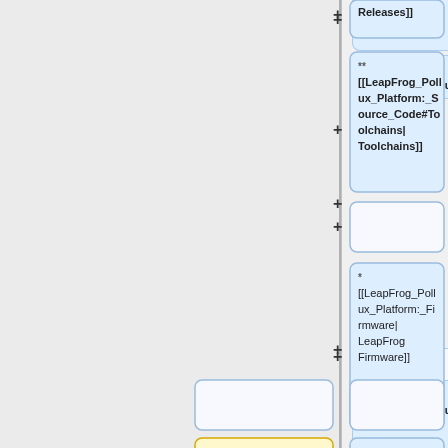[Figure (flowchart): A wiki diff/flowchart showing nodes with MediaWiki link syntax. Right column shows blue cards with links: Releases]], **[[LeapFrog_Pollux_Platform:_Source_Code#Toolchains|Toolchains]], empty node, *[[LeapFrog_Pollux_Platform:_Firmware|LeapFrog Firmware]]. Bottom row shows a yellow card with *[[Leapfrog_Source_Code|Leapfrog Source Code and a blue card with *[[LeapFrog_Pollux_Platform:_Project|Project. Plus and minus symbols appear on the vertical divider line.]